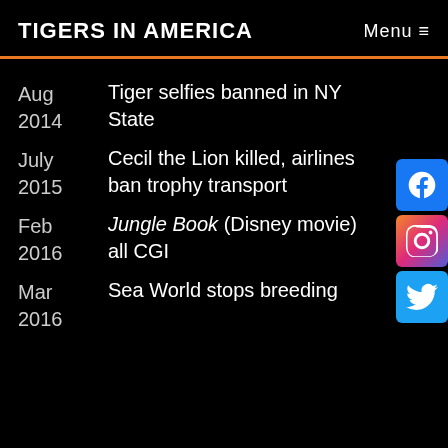TIGERS IN AMERICA   Menu ≡
Aug 2014   Tiger selfies banned in NY State
July 2015   Cecil the Lion killed, airlines ban trophy transport
Feb 2016   Jungle Book (Disney movie) all CGI
Mar 2016   Sea World stops breeding